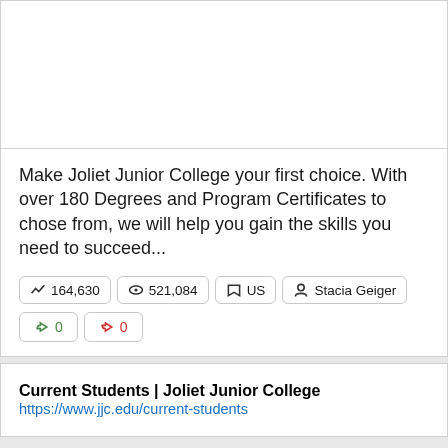[Figure (photo): White image placeholder area at the top of a card]
Make Joliet Junior College your first choice. With over 180 Degrees and Program Certificates to chose from, we will help you gain the skills you need to succeed...
164,630  521,084  US  Stacia Geiger
0  0
Current Students | Joliet Junior College
https://www.jjc.edu/current-students